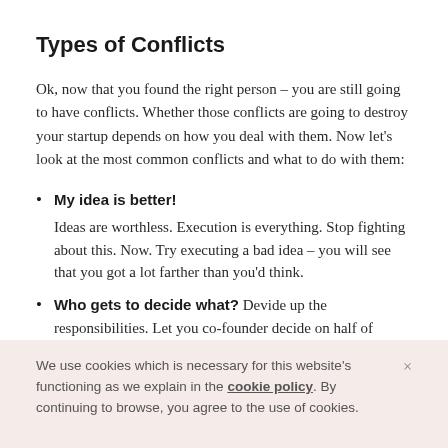Types of Conflicts
Ok, now that you found the right person – you are still going to have conflicts. Whether those conflicts are going to destroy your startup depends on how you deal with them. Now let's look at the most common conflicts and what to do with them:
My idea is better! Ideas are worthless. Execution is everything. Stop fighting about this. Now. Try executing a bad idea – you will see that you got a lot farther than you'd think.
Who gets to decide what? Devide up the responsibilities. Let you co-founder decide on half of
We use cookies which is necessary for this website's functioning as we explain in the cookie policy. By continuing to browse, you agree to the use of cookies.